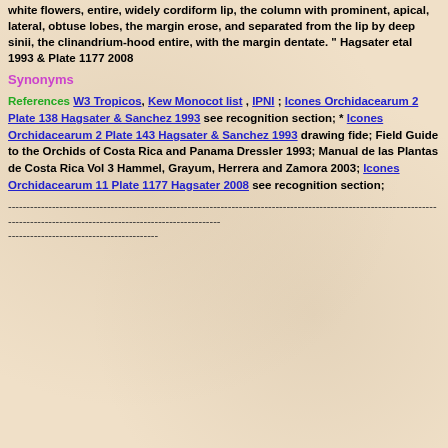white flowers, entire, widely cordiform lip, the column with prominent, apical, lateral, obtuse lobes, the margin erose, and separated from the lip by deep sinii, the clinandrium-hood entire, with the margin dentate. " Hagsater etal 1993 & Plate 1177 2008
Synonyms
References W3 Tropicos, Kew Monocot list , IPNI ; Icones Orchidacearum 2 Plate 138 Hagsater & Sanchez 1993 see recognition section; * Icones Orchidacearum 2 Plate 143 Hagsater & Sanchez 1993 drawing fide; Field Guide to the Orchids of Costa Rica and Panama Dressler 1993; Manual de las Plantas de Costa Rica Vol 3 Hammel, Grayum, Herrera and Zamora 2003; Icones Orchidacearum 11 Plate 1177 Hagsater 2008 see recognition section;
--------------------------------------------------------------------------------------------------------------------------------------